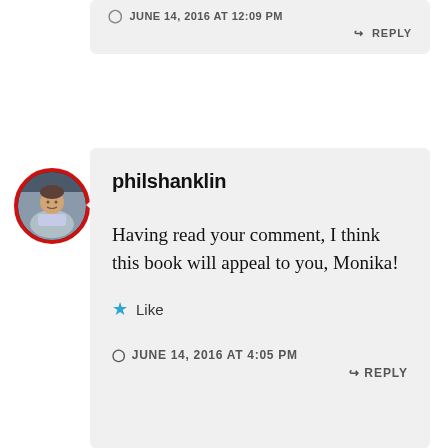JUNE 14, 2016 AT 12:09 PM
REPLY
[Figure (photo): Circular avatar photo of a man (philshanklin) with a red border]
philshanklin
Having read your comment, I think this book will appeal to you, Monika!
Like
JUNE 14, 2016 AT 4:05 PM
REPLY